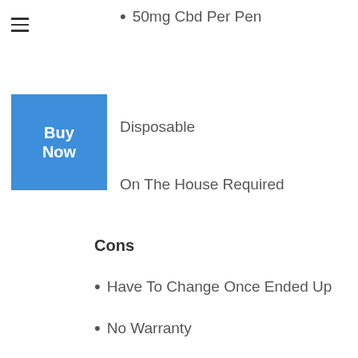50mg Cbd Per Pen
Disposable
On The House Required
Cons
Have To Change Once Ended Up
No Warranty
>>–Shop CBD Vaporizors–<<
CBDFx CBD Vape Pen– Fresh Mint– Best CBD Vape Pen